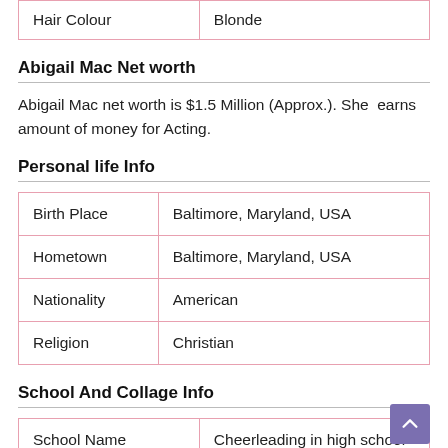| Hair Colour | Blonde |
Abigail Mac Net worth
Abigail Mac net worth is $1.5 Million (Approx.). She earns amount of money for Acting.
Personal life Info
| Birth Place | Baltimore, Maryland, USA |
| Hometown | Baltimore, Maryland, USA |
| Nationality | American |
| Religion | Christian |
School And Collage Info
| School Name | Cheerleading in high school |